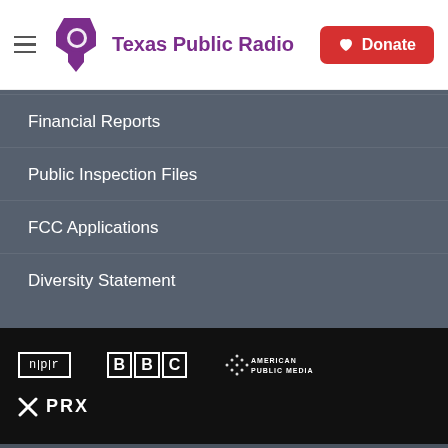Texas Public Radio — Donate
Financial Reports
Public Inspection Files
FCC Applications
Diversity Statement
[Figure (logo): NPR logo, BBC logo, American Public Media logo, PRX logo on black background]
KSTX — Hidden Brain (now playing bar)